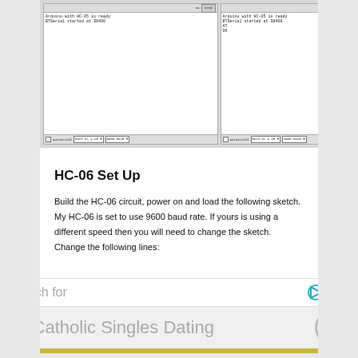[Figure (screenshot): Two Arduino serial monitor windows side by side. Left shows: 'Arduino with HC-05 is ready' and 'BTSerial started at 38400'. Right shows same text plus 'AT' and 'OK' with an arrow annotation reading 'Command echoed back to the serial monitor'.]
HC-06 Set Up
Build the HC-06 circuit, power on and load the following sketch. My HC-06 is set to use 9600 baud rate. If yours is using a different speed then you will need to change the sketch. Change the following lines:
BTSerial.begin(9600);
Serial.println("BTserial started at 9600");
[Figure (screenshot): Advertisement bar: 'Search for' with eye and play icons, listing '1. Catholic Singles Dating' with chevron button.]